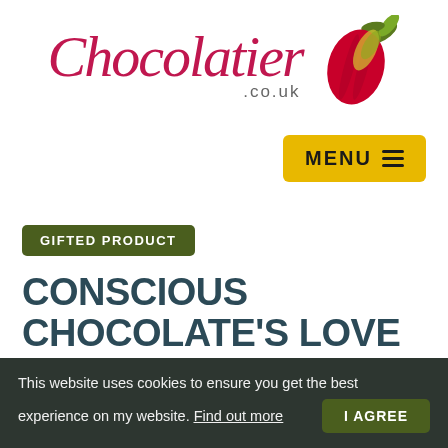[Figure (logo): Chocolatier.co.uk logo with cursive script text and stylized cacao pod graphic in green, yellow, and pink/red]
MENU ≡
GIFTED PRODUCT
CONSCIOUS CHOCOLATE'S LOVE POTION VALENTINE'S DAY GIFT BOX REVIEW
This website uses cookies to ensure you get the best experience on my website. Find out more  I AGREE